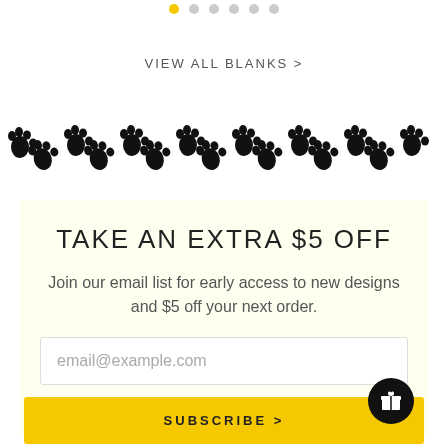[Figure (other): Pagination dots row with first dot highlighted yellow]
VIEW ALL BLANKS >
[Figure (illustration): A row of black paw print icons spanning the full width]
TAKE AN EXTRA $5 OFF
Join our email list for early access to new designs and $5 off your next order.
email@example.com
SUBSCRIBE >